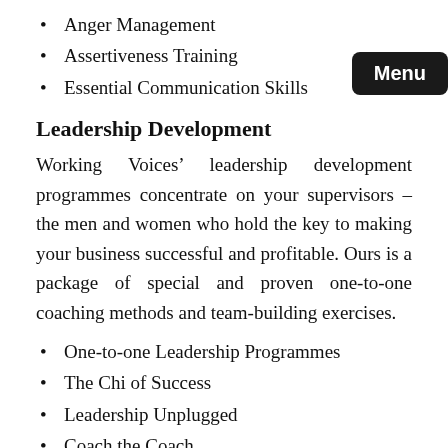Anger Management
Assertiveness Training
Essential Communication Skills
Leadership Development
Working Voices’ leadership development programmes concentrate on your supervisors – the men and women who hold the key to making your business successful and profitable. Ours is a package of special and proven one-to-one coaching methods and team-building exercises.
One-to-one Leadership Programmes
The Chi of Success
Leadership Unplugged
Coach the Coach